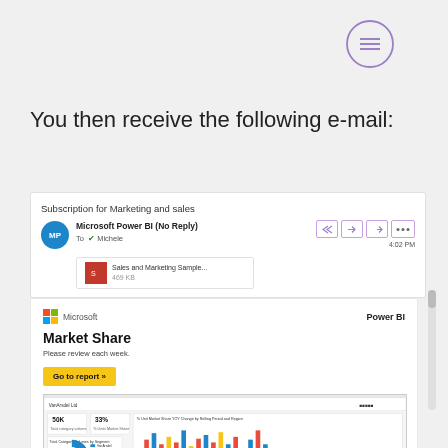[Figure (illustration): Hamburger/menu icon inside a circle, purple outline, top right corner]
You then receive the following e-mail:
Subscription for Marketing and sales
Microsoft Power BI (No Reply)
To  Michele  4:02 PM
Sales and Marketing Sample...
[Figure (screenshot): Power BI email notification showing Market Share report with Microsoft logo, 'Market Share' heading, 'Please review each week.' subtitle, 'Go to report »' yellow button, and a screenshot of the Power BI report with donut chart and bar/line charts]